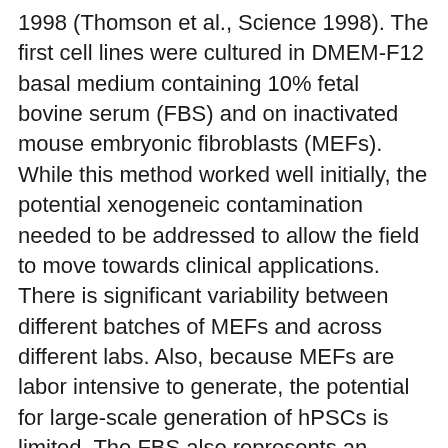1998 (Thomson et al., Science 1998). The first cell lines were cultured in DMEM-F12 basal medium containing 10% fetal bovine serum (FBS) and on inactivated mouse embryonic fibroblasts (MEFs). While this method worked well initially, the potential xenogeneic contamination needed to be addressed to allow the field to move towards clinical applications. There is significant variability between different batches of MEFs and across different labs. Also, because MEFs are labor intensive to generate, the potential for large-scale generation of hPSCs is limited. The FBS also represents an undefined, animal-derived component in the culture system which can be highly variable from batch to batch. The nature of these undefined culture systems led to variability in experimental results and difficulty for labs world-wide to compare results also making potential therapeutic applications unattainable. Those